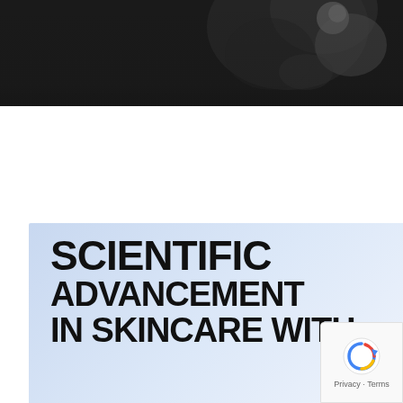[Figure (photo): Dark background photograph showing scientific/skincare device or product, monochrome tones, partially visible at top of page]
SCIENTIFIC ADVANCEMENT IN SKINCARE WITH
[Figure (other): reCAPTCHA badge in bottom right corner showing Google reCAPTCHA logo and Privacy/Terms text]